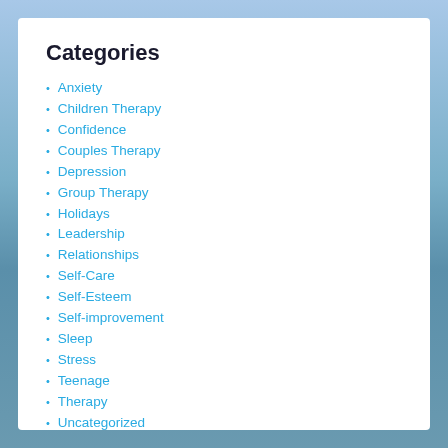Categories
Anxiety
Children Therapy
Confidence
Couples Therapy
Depression
Group Therapy
Holidays
Leadership
Relationships
Self-Care
Self-Esteem
Self-improvement
Sleep
Stress
Teenage
Therapy
Uncategorized